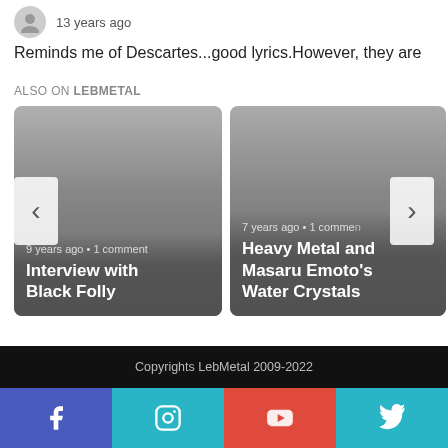13 years ago
Reminds me of Descartes...good lyrics.However, they are
ALSO ON LEBMETAL
[Figure (screenshot): Card: 9 years ago • 1 comment — Interview with Black Folly]
[Figure (screenshot): Card: 7 years ago • 1 comment — Heavy Metal and Masaru Emoto's Water Crystals]
Copyrights LebMetal 2009-2022